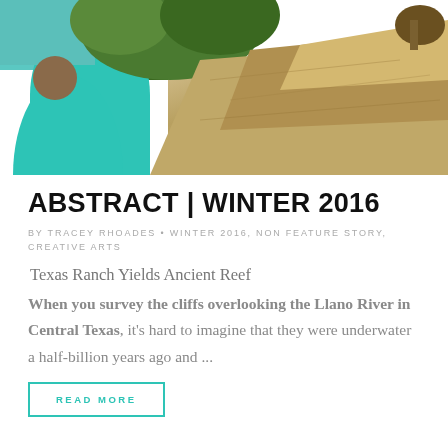[Figure (photo): Outdoor photograph showing a person in a teal/turquoise shirt on rocky cliffs overlooking a river, with green trees and rocky terrain in the background.]
ABSTRACT | WINTER 2016
BY TRACEY RHOADES • WINTER 2016, NON FEATURE STORY, CREATIVE ARTS
Texas Ranch Yields Ancient Reef
When you survey the cliffs overlooking the Llano River in Central Texas, it's hard to imagine that they were underwater a half-billion years ago and ...
READ MORE